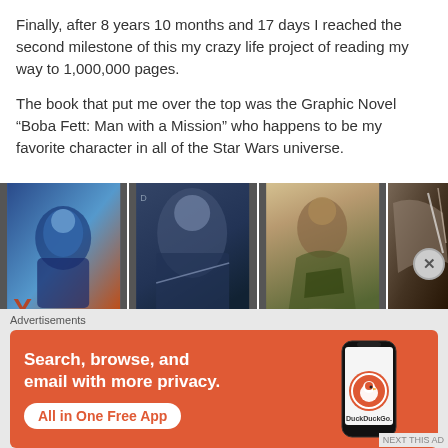Finally, after 8 years 10 months and 17 days I reached the second milestone of this my crazy life project of reading my way to 1,000,000 pages.
The book that put me over the top was the Graphic Novel “Boba Fett: Man with a Mission” who happens to be my favorite character in all of the Star Wars universe.
[Figure (photo): A strip of four photos showing comic book/graphic novel pages from Boba Fett: Man with a Mission. Images show illustrated sci-fi/action scenes featuring armored characters.]
Advertisements
[Figure (screenshot): DuckDuckGo advertisement banner with orange background. Text reads: Search, browse, and email with more privacy. All in One Free App. Shows a phone with DuckDuckGo app.]